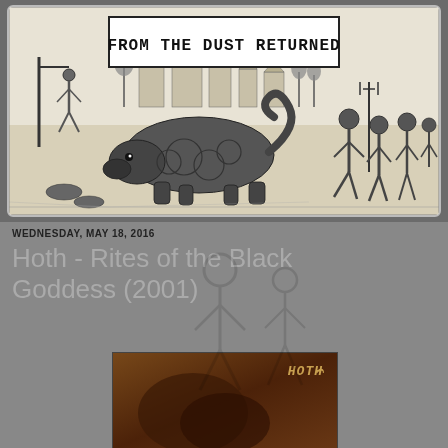[Figure (illustration): Blog header banner showing a woodcut/engraving scene with text 'FROM THE DUST RETURNED' in a white box at top. The woodcut depicts a medieval scene with a large creature/beast on the ground, villagers with pitchforks on the right, and figures on the left including someone on horseback.]
WEDNESDAY, MAY 18, 2016
Hoth - Rites of the Black Goddess (2001)
[Figure (photo): Album cover image for Hoth - Rites of the Black Goddess (2001), showing a dark brownish/sepia photograph with the band logo 'HOTH' in stylized letters in the upper right corner.]